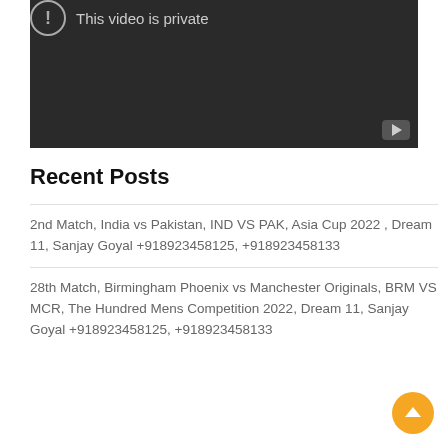[Figure (screenshot): A dark video player showing 'This video is private' with an exclamation circle icon and a YouTube play button in the bottom right corner.]
Recent Posts
2nd Match, India vs Pakistan, IND VS PAK, Asia Cup 2022 , Dream 11, Sanjay Goyal +918923458125, +918923458133
28th Match, Birmingham Phoenix vs Manchester Originals, BRM VS MCR, The Hundred Mens Competition 2022, Dream 11, Sanjay Goyal +918923458125, +918923458133